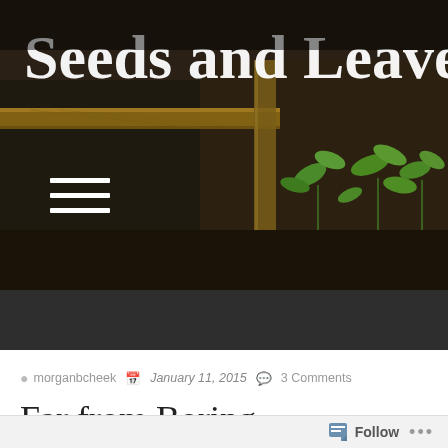[Figure (photo): Header image of a raised garden bed with seedlings growing in dark soil, wooden frame visible. Blog title 'Seeds and Leaven' overlaid in large white serif font at the top. A hamburger menu icon (three horizontal white lines) is visible on the left side.]
morganbcheek  January 11, 2015  3 Comments
Far from Boring.
[Figure (screenshot): WordPress Follow bar at the bottom with a Follow button and ellipsis menu dots.]